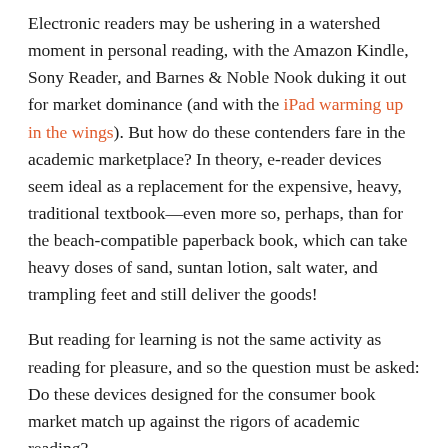Electronic readers may be ushering in a watershed moment in personal reading, with the Amazon Kindle, Sony Reader, and Barnes & Noble Nook duking it out for market dominance (and with the iPad warming up in the wings). But how do these contenders fare in the academic marketplace? In theory, e-reader devices seem ideal as a replacement for the expensive, heavy, traditional textbook—even more so, perhaps, than for the beach-compatible paperback book, which can take heavy doses of sand, suntan lotion, salt water, and trampling feet and still deliver the goods!
But reading for learning is not the same activity as reading for pleasure, and so the question must be asked: Do these devices designed for the consumer book market match up against the rigors of academic reading?